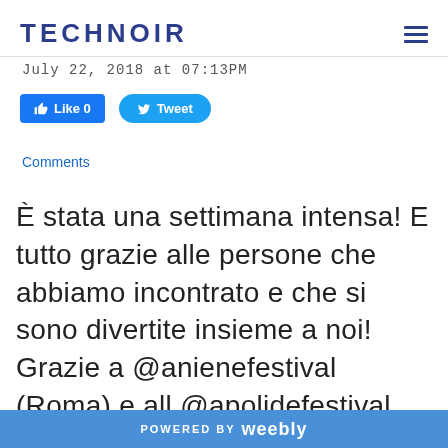TECHNOIR
July 22, 2018 at 07:13PM
[Figure (screenshot): Social media buttons: Facebook Like (0) and Tweet buttons]
Comments
È stata una settimana intensa! E tutto grazie alle persone che abbiamo incontrato e che si sono divertite insieme a noi! Grazie a @anienefestival (Roma) e all @apolidefestival
POWERED BY weebly